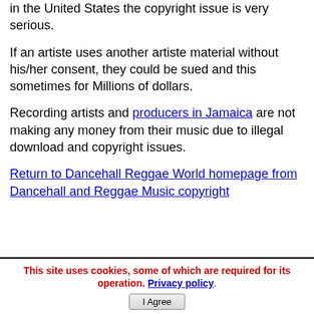in the United States the copyright issue is very serious.
If an artiste uses another artiste material without his/her consent, they could be sued and this sometimes for Millions of dollars.
Recording artists and producers in Jamaica are not making any money from their music due to illegal download and copyright issues.
Return to Dancehall Reggae World homepage from Dancehall and Reggae Music copyright
This site uses cookies, some of which are required for its operation. Privacy policy. I Agree